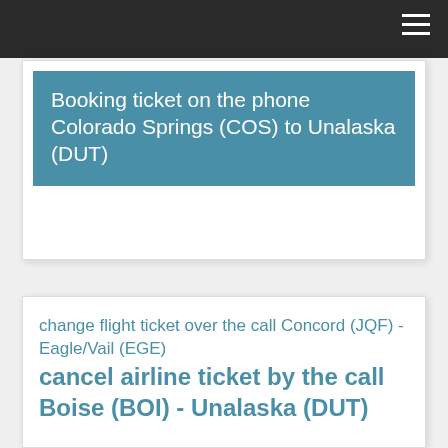Booking ticket on the phone Colorado Springs (COS) to Unalaska (DUT)
change flight ticket over the call Concord (JQF) - Eagle/Vail (EGE) cancel airline ticket by the call Boise (BOI) - Unalaska (DUT)